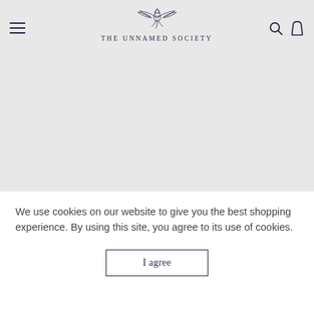The Unnamed Society
[Figure (logo): The Unnamed Society logo — stylized eagle/bird with spread wings above the brand name text 'THE UNNAMED SOCIETY']
We use cookies on our website to give you the best shopping experience. By using this site, you agree to its use of cookies.
I agree